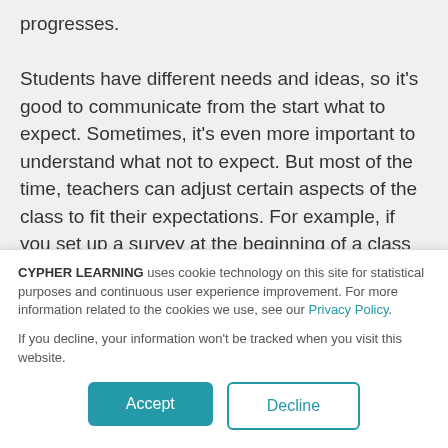progresses. Students have different needs and ideas, so it's good to communicate from the start what to expect. Sometimes, it's even more important to understand what not to expect. But most of the time, teachers can adjust certain aspects of the class to fit their expectations. For example, if you set up a survey at the beginning of a class where students express their wish for small study
CYPHER LEARNING uses cookie technology on this site for statistical purposes and continuous user experience improvement. For more information related to the cookies we use, see our Privacy Policy.
If you decline, your information won't be tracked when you visit this website.
Accept
Decline